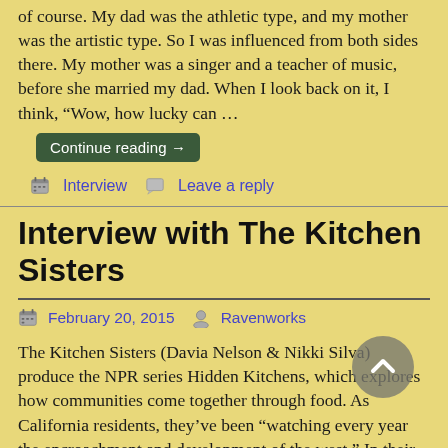of course. My dad was the athletic type, and my mother was the artistic type. So I was influenced from both sides there. My mother was a singer and a teacher of music, before she married my dad. When I look back on it, I think, “Wow, how lucky can …
Continue reading →
Interview   Leave a reply
Interview with The Kitchen Sisters
February 20, 2015   Ravenworks
The Kitchen Sisters (Davia Nelson & Nikki Silva) produce the NPR series Hidden Kitchens, which explores how communities come together through food. As California residents, they’ve been “watching every year the encroachment and development of the west.” In their two-part radio documentary “Cry Me a River,” produced with Martha